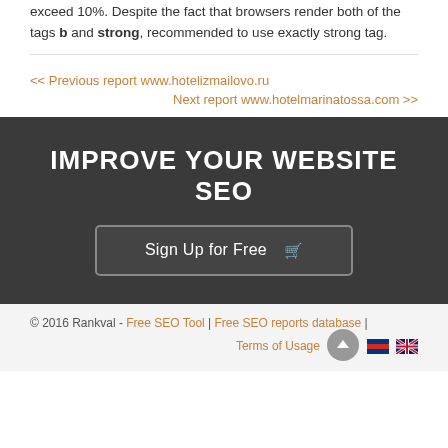exceed 10%. Despite the fact that browsers render both of the tags b and strong, recommended to use exactly strong tag.
<< Previous report www.hotelizmailovo.ru
Next report www.hotelmarinatossa.com >>
IMPROVE YOUR WEBSITE SEO
Sign Up for Free
© 2016 Rankval - Free SEO Tool | Free SEO reports database | Terms of Usage